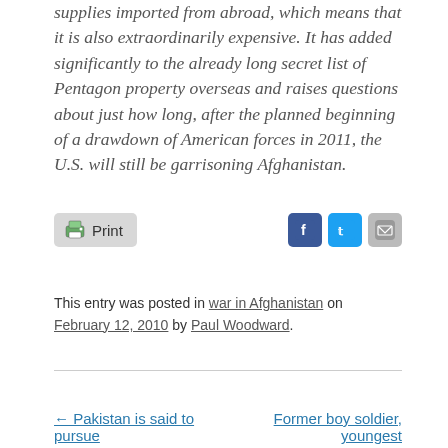supplies imported from abroad, which means that it is also extraordinarily expensive. It has added significantly to the already long secret list of Pentagon property overseas and raises questions about just how long, after the planned beginning of a drawdown of American forces in 2011, the U.S. will still be garrisoning Afghanistan.
[Figure (infographic): Print button and social media icons (Facebook, Twitter, Email)]
This entry was posted in war in Afghanistan on February 12, 2010 by Paul Woodward.
← Pakistan is said to pursue
Former boy soldier, youngest